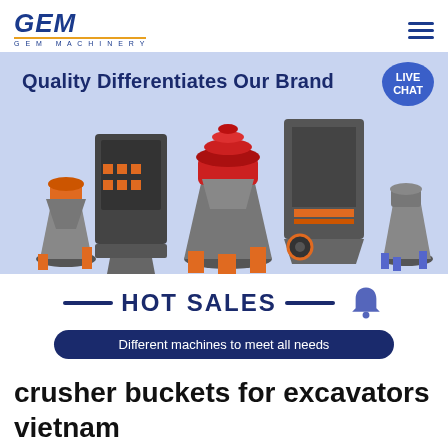[Figure (logo): GEM Machinery logo with blue italic text and orange underline, plus hamburger menu icon]
[Figure (photo): Banner with light blue background showing 5 industrial crushing/mining machines and text 'Quality Differentiates Our Brand' with a LIVE CHAT bubble badge]
HOT SALES
Different machines to meet all needs
crusher buckets for excavators vietnam